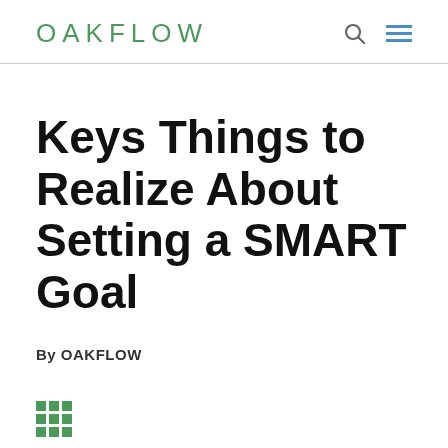OAKFLOW
Keys Things to Realize About Setting a SMART Goal
By OAKFLOW